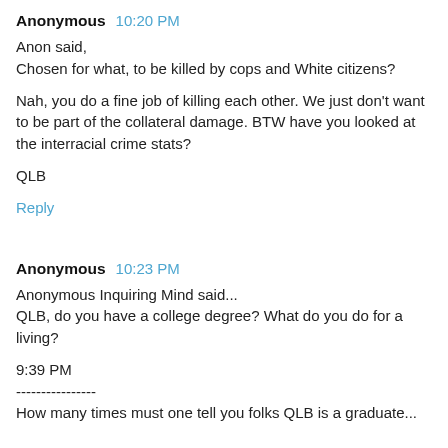Anonymous 10:20 PM
Anon said,
Chosen for what, to be killed by cops and White citizens?

Nah, you do a fine job of killing each other. We just don't want to be part of the collateral damage. BTW have you looked at the interracial crime stats?

QLB
Reply
Anonymous 10:23 PM
Anonymous Inquiring Mind said...
QLB, do you have a college degree? What do you do for a living?

9:39 PM
----------------
How many times must one tell you folks QLB is a graduate...